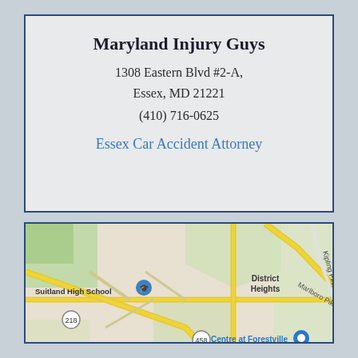Maryland Injury Guys
1308 Eastern Blvd #2-A,
Essex, MD 21221
(410) 716-0625
Essex Car Accident Attorney
[Figure (map): Google Maps view showing Suitland High School area, District Heights, Marlboro Pike, Suitland-Silver Hill, Centre at Forestville, route markers 218 and 458, Kipling Pkwy, and Pkwy labels.]